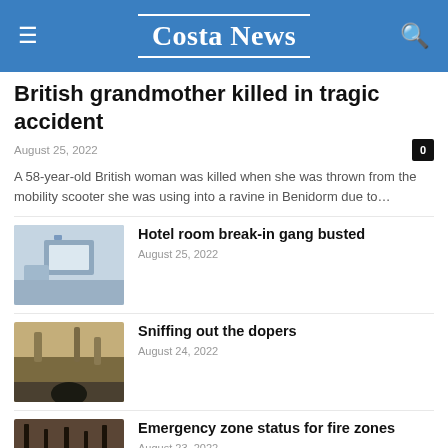Costa News
British grandmother killed in tragic accident
August 25, 2022
A 58-year-old British woman was killed when she was thrown from the mobility scooter she was using into a ravine in Benidorm due to…
[Figure (photo): Hotel room image with luggage and room interior]
Hotel room break-in gang busted
August 25, 2022
[Figure (photo): Flooded area with dark tree stump in foreground]
Sniffing out the dopers
August 24, 2022
[Figure (photo): Burnt forest with people walking among charred trees]
Emergency zone status for fire zones
August 23, 2022